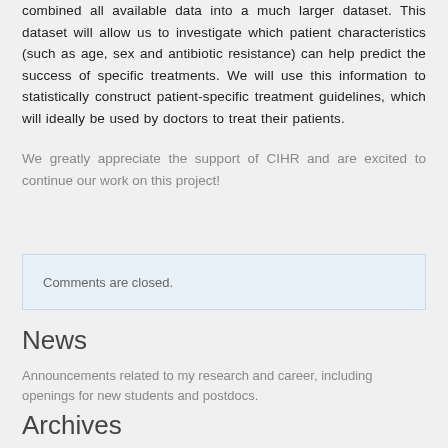combined all available data into a much larger dataset. This dataset will allow us to investigate which patient characteristics (such as age, sex and antibiotic resistance) can help predict the success of specific treatments. We will use this information to statistically construct patient-specific treatment guidelines, which will ideally be used by doctors to treat their patients.
We greatly appreciate the support of CIHR and are excited to continue our work on this project!
Comments are closed.
News
Announcements related to my research and career, including openings for new students and postdocs.
Archives